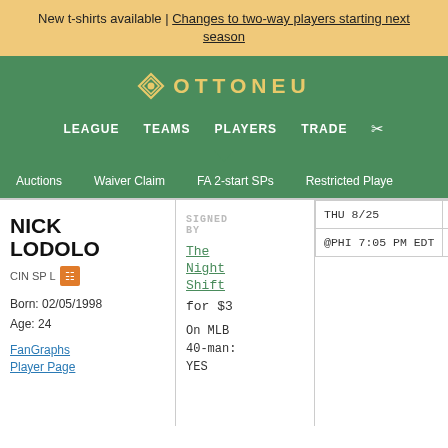New t-shirts available | Changes to two-way players starting next season
[Figure (logo): Ottoneu logo with diamond icon and text OTTONEU]
LEAGUE   TEAMS   PLAYERS   TRADE
Auctions   Waiver Claim   FA 2-start SPs   Restricted Players
NICK LODOLO
CIN SP L
Born: 02/05/1998
Age: 24
FanGraphs Player Page
SIGNED BY
The Night Shift for $3
On MLB 40-man: YES
| THU 8/25 | FRI 8/26 | SAT 8/ |
| --- | --- | --- |
| @PHI 7:05 PM EDT | @WSN 7:05 PM EDT | @WSN 7:0 |